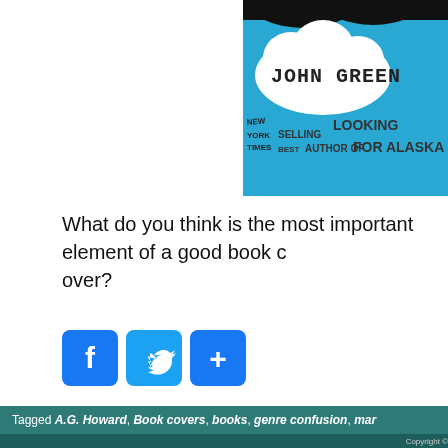[Figure (illustration): Book cover of John Green novel showing blue background with cloud shape containing 'JOHN GREEN' text in handwritten style, black blob shapes at top, and text 'NEW YORK TIMES SELLING LOOKING BEST AUTHOR OF FOR ALASKA' at bottom]
What do you think is the most important element of a good book cover?
[Figure (infographic): Three social share buttons: Facebook (f), Twitter (bird), and a plus (+) button, all in blue with rounded corners]
Tagged A.G. Howard, Book covers, books, genre confusion, mar...